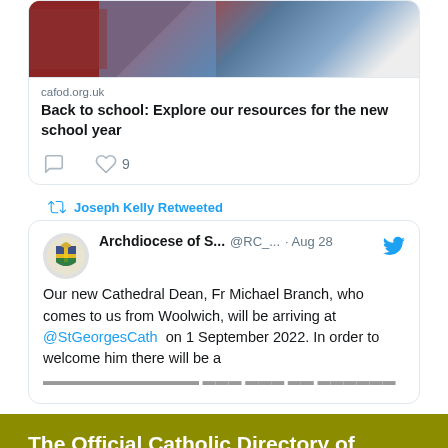[Figure (screenshot): Tweet card showing CAFOD link preview with photo of person at school desk and 'Back to school: Explore our resources for the new school year' title from cafod.org.uk, with comment and 9 likes icons]
[Figure (screenshot): Tweet from Archdiocese of S... @RC_... Aug 28: Our new Cathedral Dean, Fr Michael Branch, who comes to us from Woolwich, will be arriving at @StGeorgesCath on 1 September 2022. In order to welcome him there will be a... (truncated). Retweeted by Joseph Kelly.]
[Figure (screenshot): Olive/dark yellow banner reading: The Official Catholic Directory of England & Wales. Below is a dark bar.]